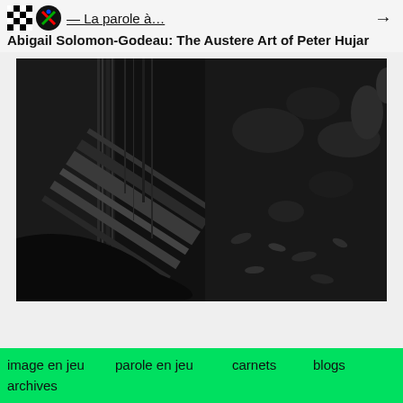— La parole à…
Abigail Solomon-Godeau: The Austere Art of Peter Hujar
[Figure (photo): Black and white photograph showing a dark, dramatic scene with wooden planks or debris in a shadowy environment, possibly ruins or an industrial space with rock or rubble.]
image en jeu   parole en jeu   carnets   blogs   archives